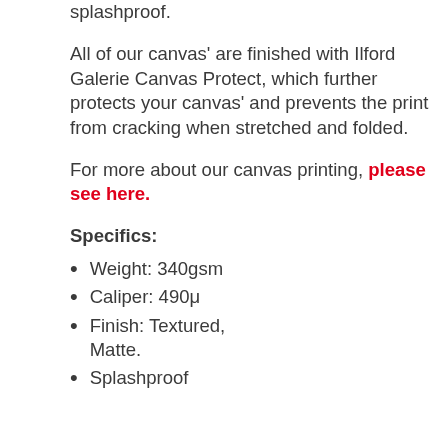splashproof.
All of our canvas' are finished with Ilford Galerie Canvas Protect, which further protects your canvas' and prevents the print from cracking when stretched and folded.
For more about our canvas printing, please see here.
Specifics:
Weight: 340gsm
Caliper: 490μ
Finish: Textured, Matte.
Splashproof